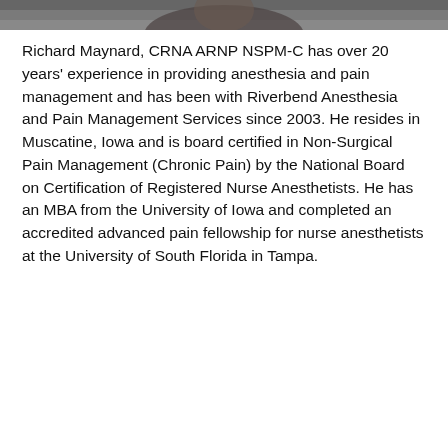[Figure (photo): Partial photograph of Richard Maynard, cropped — shows upper portion of a person, appears to be wearing a suit or professional attire.]
Richard Maynard, CRNA ARNP NSPM-C has over 20 years' experience in providing anesthesia and pain management and has been with Riverbend Anesthesia and Pain Management Services since 2003. He resides in Muscatine, Iowa and is board certified in Non-Surgical Pain Management (Chronic Pain) by the National Board on Certification of Registered Nurse Anesthetists. He has an MBA from the University of Iowa and completed an accredited advanced pain fellowship for nurse anesthetists at the University of South Florida in Tampa.